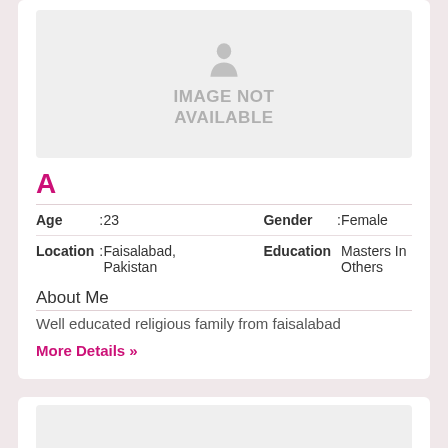[Figure (illustration): IMAGE NOT AVAILABLE placeholder with a person silhouette icon]
A
| Age | : | 23 | Gender | : | Female |
| Location | : | Faisalabad, Pakistan | Education |  | Masters In Others |
About Me
Well educated religious family from faisalabad
More Details »
[Figure (illustration): Second profile card partially visible at bottom]